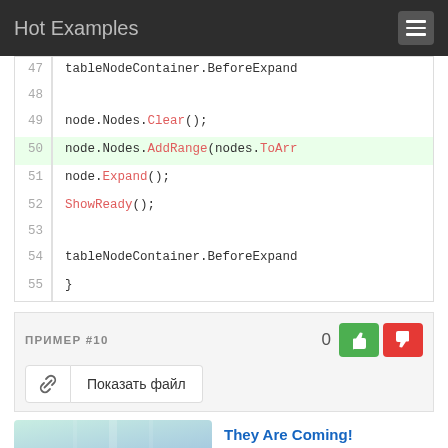Hot Examples
[Figure (screenshot): Code snippet showing lines 47-55 of a C# code block with syntax highlighting. Line 50 is highlighted green. Code includes tableNodeContainer.BeforeExpand, node.Nodes.Clear(), node.Nodes.AddRange(nodes.ToArr..., node.Expand(), ShowReady(), and closing brace.]
ПРИМЕР #10
0
[Figure (screenshot): Показать файл button with link icon, vote up (green thumbs up) and vote down (red thumbs down) buttons]
[Figure (photo): Ad image: bowling lane style road game screenshot with Hold and Move label, They Are Coming! text link]
Ad